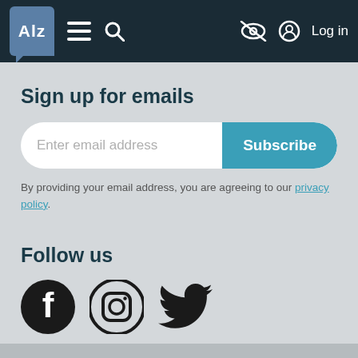ALZ — navigation bar with menu, search, accessibility, and Log in
Sign up for emails
Enter email address
Subscribe
By providing your email address, you are agreeing to our privacy policy.
Follow us
[Figure (logo): Facebook, Instagram, and Twitter social media icons]